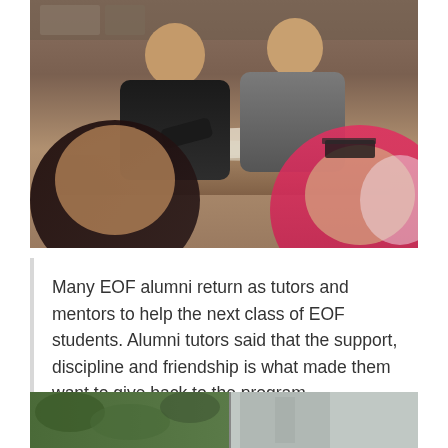[Figure (photo): Students studying together at desks in a classroom. Two male students in the background, one wearing a black shirt writing on papers, another in a grey t-shirt. Two female students in the foreground, one with dark hair and one wearing a bright pink hijab.]
Many EOF alumni return as tutors and mentors to help the next class of EOF students. Alumni tutors said that the support, discipline and friendship is what made them want to give back to the program.
[Figure (photo): Partial outdoor photo visible at the bottom of the page, showing green foliage on the left and what appears to be a door or wall structure on the right.]